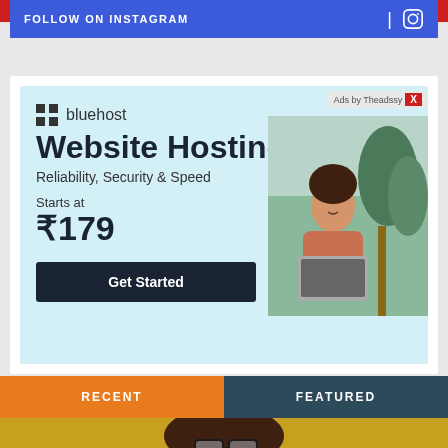[Figure (screenshot): Top red navigation bar strip]
FOLLOW ON INSTAGRAM
[Figure (infographic): Bluehost Website Hosting advertisement. Headline: Website Hosting. Subheading: Reliability, Security & Speed. Starts at ₹179. Get Started button. Shows woman working on laptop in garden setting. Ads by Theadssy label.]
RECENT
FEATURED
[Figure (photo): Bottom strip showing top of person's head with glasses and curly hair on yellow/gold background]